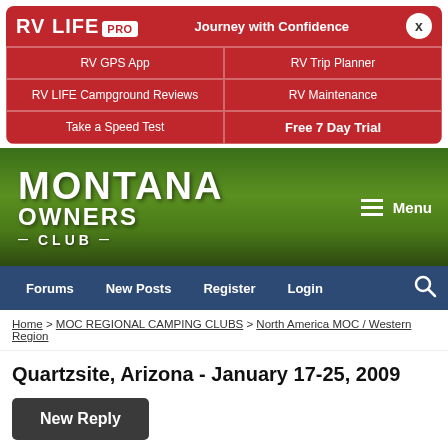[Figure (screenshot): RV LIFE PRO advertisement banner with red background, showing logo, Journey with Confidence tagline, and grid of links: RV GPS App, RV Trip Planner, RV LIFE Campground Reviews, RV Maintenance, Take a Speed Test, Free 7 Day Trial]
[Figure (logo): Montana Owners Club website header with green mountain background, large white text MONTANA OWNERS CLUB, and Menu button]
Forums | New Posts | Register | Login
Home > MOC REGIONAL CAMPING CLUBS > North America MOC / Western Region
Quartzsite, Arizona - January 17-25, 2009
New Reply
Page 7 of 8  « First  < Prev  Next >
Subscribe to this Thread...